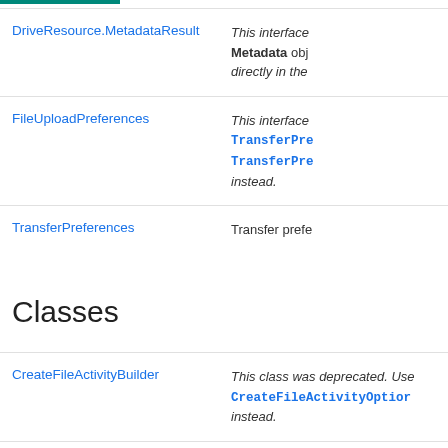| Interface | Description |
| --- | --- |
| DriveResource.MetadataResult | This interface Metadata obj directly in the |
| FileUploadPreferences | This interface TransferPre TransferPre instead. |
| TransferPreferences | Transfer prefe |
Classes
| Class | Description |
| --- | --- |
| CreateFileActivityBuilder | This class was deprecated. Use CreateFileActivityOption instead. |
| CreateFileActivityOptions | Options used to configure settings for the create file dialc activity. |